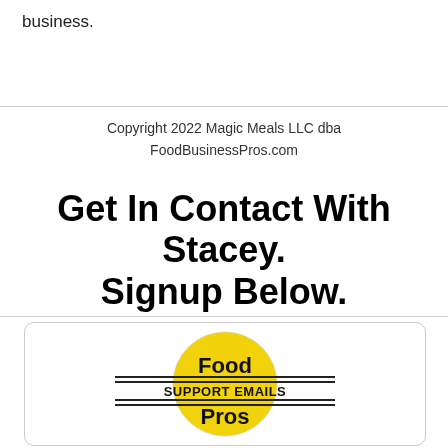business.
Copyright 2022 Magic Meals LLC dba FoodBusinessPros.com
Get In Contact With Stacey. Signup Below.
[Figure (logo): Food Pros Support Emails logo — yellow circle with 'Food' and 'Pros' text, horizontal double lines through middle with 'SUPPORT EMAILS' text]